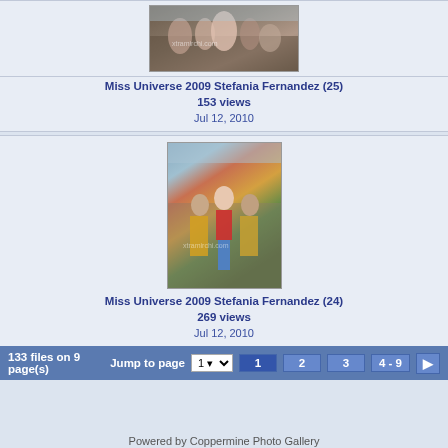[Figure (photo): Photo thumbnail of Miss Universe 2009 Stefania Fernandez (25) - crowd scene]
Miss Universe 2009 Stefania Fernandez (25)
153 views
Jul 12, 2010
[Figure (photo): Photo thumbnail of Miss Universe 2009 Stefania Fernandez (24) - walking in street with women in saris]
Miss Universe 2009 Stefania Fernandez (24)
269 views
Jul 12, 2010
133 files on 9 page(s)   Jump to page 1  1 2 3 4-9 ▶
Powered by Coppermine Photo Gallery